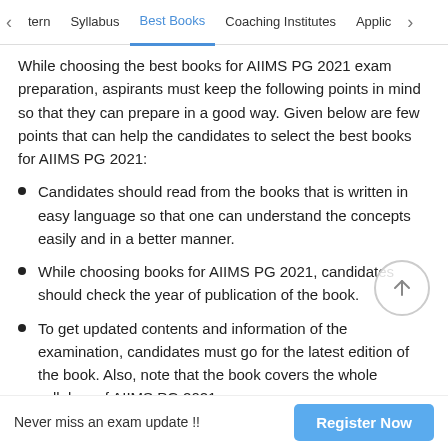tern | Syllabus | Best Books | Coaching Institutes | Applic
While choosing the best books for AIIMS PG 2021 exam preparation, aspirants must keep the following points in mind so that they can prepare in a good way. Given below are few points that can help the candidates to select the best books for AIIMS PG 2021:
Candidates should read from the books that is written in easy language so that one can understand the concepts easily and in a better manner.
While choosing books for AIIMS PG 2021, candidates should check the year of publication of the book.
To get updated contents and information of the examination, candidates must go for the latest edition of the book. Also, note that the book covers the whole syllabus of AIIMS PG 2021
Before buying the best book for AIIMS PG 2021 entrance
Never miss an exam update !!  Register Now